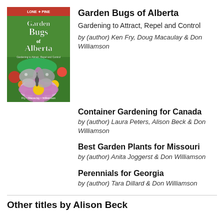[Figure (illustration): Book cover of 'Garden Bugs of Alberta' by Lone Pine publishing. Features a butterfly on a flower with text overlay. Red header bar at top with 'LONE PINE' logo.]
Garden Bugs of Alberta
Gardening to Attract, Repel and Control
by (author) Ken Fry, Doug Macaulay & Don Williamson
Container Gardening for Canada
by (author) Laura Peters, Alison Beck & Don Williamson
Best Garden Plants for Missouri
by (author) Anita Joggerst & Don Williamson
Perennials for Georgia
by (author) Tara Dillard & Don Williamson
Other titles by Alison Beck